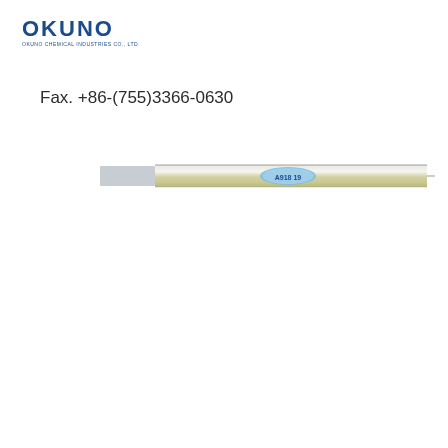[Figure (logo): OKUNO logo - blue bold text with subtitle 'OKUNO CHEMICAL INDUSTRIES CO., LTD.']
Fax. +86-(755)3366-0630
[Figure (photo): A metallic strip or bar with a blue oval label reading 'A918 19']